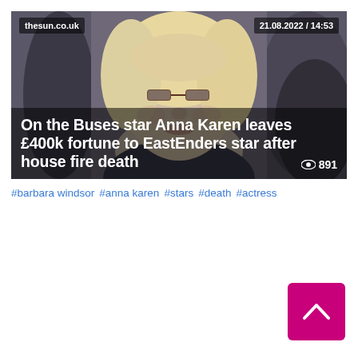[Figure (photo): Screenshot of a thesun.co.uk news article dated 21.08.2022 / 14:53 showing a woman with blonde hair and glasses. Headline overlaid on the photo: 'On the Buses star Anna Karen leaves £400k fortune to EastEnders star after house fire death' with a view count of 891.]
#barbara windsor  #anna karen  #stars  #death  #actress